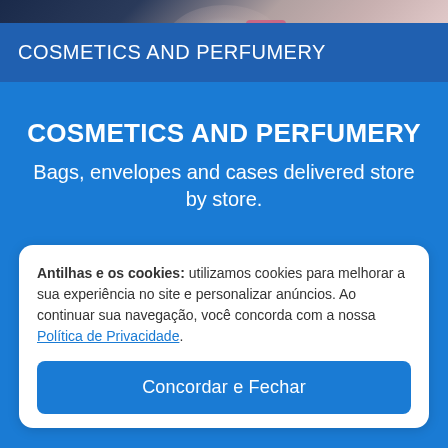[Figure (photo): Blurred background photo showing people in a store, partial view with pink bag visible]
COSMETICS AND PERFUMERY
COSMETICS AND PERFUMERY
Bags, envelopes and cases delivered store by store.
Antilhas e os cookies: utilizamos cookies para melhorar a sua experiência no site e personalizar anúncios. Ao continuar sua navegação, você concorda com a nossa Política de Privacidade.
Concordar e Fechar